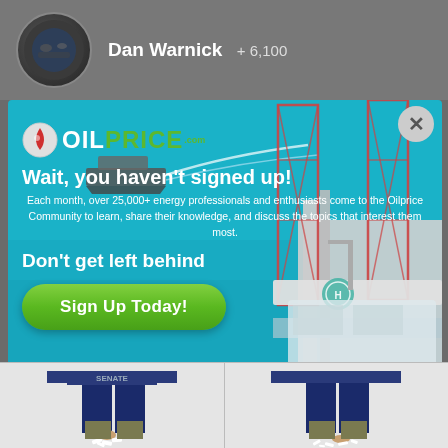Dan Warnick + 6,100
[Figure (screenshot): OilPrice.com popup advertisement over a background showing an offshore oil rig and blue ocean water. Contains logo, headline, body text, and sign up button.]
Wait, you haven't signed up!
Each month, over 25,000+ energy professionals and enthusiasts come to the Oilprice Community to learn, share their knowledge, and discuss the topics that interest them most.
Don't get left behind
Sign Up Today!
[Figure (illustration): Bottom of page shows cartoon strip panels with partial figures labeled SENATE]